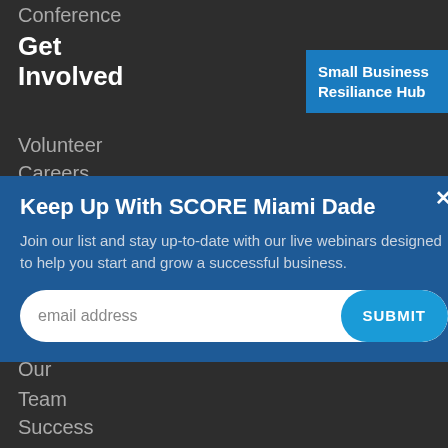Conference
Get Involved
Volunteer
Careers
Small Business Resiliance Hub
Keep Up With SCORE Miami Dade
Join our list and stay up-to-date with our live webinars designed to help you start and grow a successful business.
email address
SUBMIT
Our
Team
Success
Stories